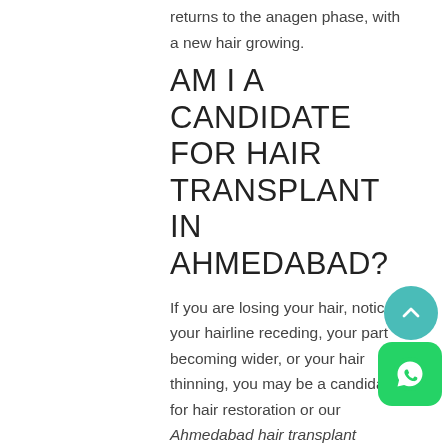returns to the anagen phase, with a new hair growing.
AM I A CANDIDATE FOR HAIR TRANSPLANT IN AHMEDABAD?
If you are losing your hair, notice your hairline receding, your part becoming wider, or your hair thinning, you may be a candidate for hair restoration or our Ahmedabad hair transplant procedure. Some people accept hair loss or may choose to wear some type of hairpiece, while others prefer to take a proactive approach and undergo a procedure, therapy, or treatment to restore natural hair to a thinning or balding area. If you feel that hair loss is affecting your self-image, confidence, or makes you look older, you are likely a very
[Figure (illustration): Teal circular scroll-to-top button with upward chevron arrow]
[Figure (illustration): WhatsApp green rounded square button with WhatsApp phone icon]